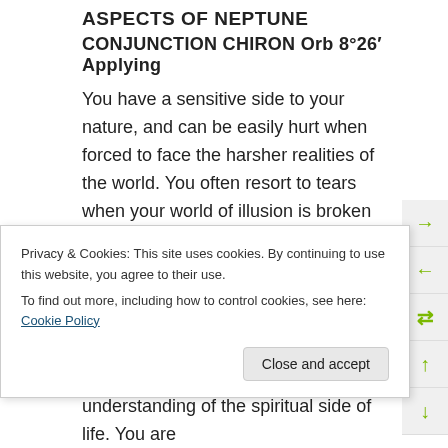ASPECTS OF NEPTUNE
CONJUNCTION CHIRON Orb 8°26′ Applying
You have a sensitive side to your nature, and can be easily hurt when forced to face the harsher realities of the world. You often resort to tears when your world of illusion is broken into. You may feel that other people do not fully understand your gentle nature, and hence you avoid conflict. On a more positive note you are highly imaginative and may have an active dream life, which gives you a deep understanding of the spiritual side of life. You are
Privacy & Cookies: This site uses cookies. By continuing to use this website, you agree to their use.
To find out more, including how to control cookies, see here: Cookie Policy
PLUTO IN CAPRICORN